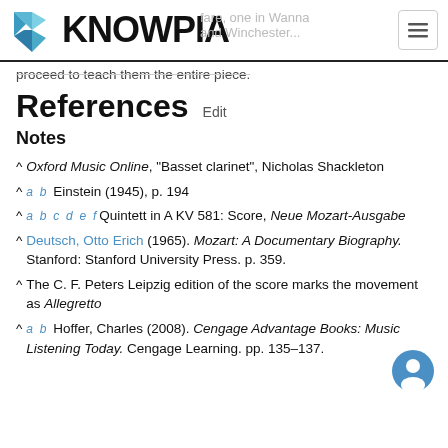KNOWPIA
proceed to teach them the entire piece.
References Edit
Notes
^ Oxford Music Online, "Basset clarinet", Nicholas Shackleton
^ a b Einstein (1945), p. 194
^ a b c d e f Quintett in A KV 581: Score, Neue Mozart-Ausgabe
^ Deutsch, Otto Erich (1965). Mozart: A Documentary Biography. Stanford: Stanford University Press. p. 359.
^ The C. F. Peters Leipzig edition of the score marks the movement as Allegretto
^ a b Hoffer, Charles (2008). Cengage Advantage Books: Music Listening Today. Cengage Learning. pp. 135-137.